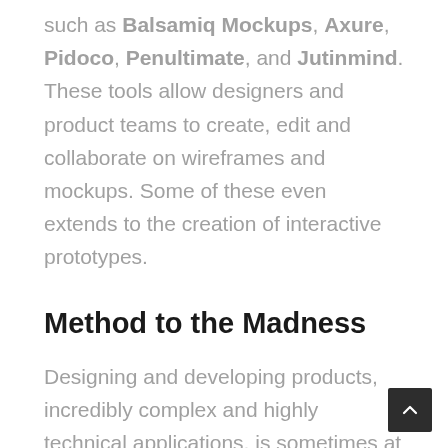such as Balsamiq Mockups, Axure, Pidoco, Penultimate, and Jutinmind. These tools allow designers and product teams to create, edit and collaborate on wireframes and mockups. Some of these even extends to the creation of interactive prototypes.
Method to the Madness
Designing and developing products, incredibly complex and highly technical applications, is sometimes at its most daunting in the early stages. Wireframing, mockuping, and prototyping are methods...